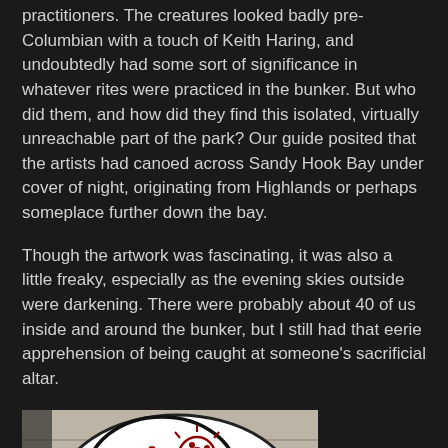practitioners. The creatures looked badly pre-Columbian with a touch of Keith Haring, and undoubtedly had some sort of significance in whatever rites were practiced in the bunker. But who did them, and how did they find this isolated, virtually unreachable part of the park? Our guide posited that the artists had canoed across Sandy Hook Bay under cover of night, originating from Highlands or perhaps someplace further down the bay.
Though the artwork was fascinating, it was also a little freaky, especially as the evening skies outside were darkening. There were probably about 40 of us inside and around the bunker, but I still had that eerie apprehension of being caught at someone's sacrificial altar.
[Figure (photo): A photograph of graffiti art on a concrete wall inside a bunker. The artwork shows bold black-outlined figures in a pre-Columbian style with Keith Haring influences, painted in red and black on white, depicting creature-like characters with circular eyes and abstract body forms.]